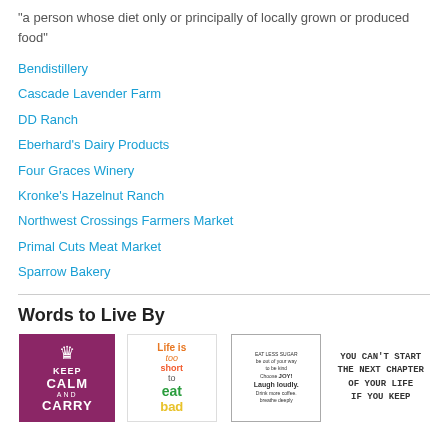"a person whose diet only or principally of locally grown or produced food"
Bendistillery
Cascade Lavender Farm
DD Ranch
Eberhard's Dairy Products
Four Graces Winery
Kronke's Hazelnut Ranch
Northwest Crossings Farmers Market
Primal Cuts Meat Market
Sparrow Bakery
Words to Live By
[Figure (photo): Four motivational image cards: Keep Calm and Carry On (purple), Life is too short to eat bad food (white), a handwritten-style quote card, and You can't start the next chapter of your life if you keep re-reading the last one (white handwritten text).]